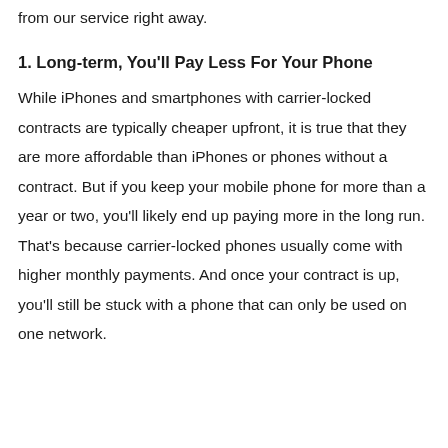from our service right away.
1. Long-term, You'll Pay Less For Your Phone
While iPhones and smartphones with carrier-locked contracts are typically cheaper upfront, it is true that they are more affordable than iPhones or phones without a contract. But if you keep your mobile phone for more than a year or two, you'll likely end up paying more in the long run. That's because carrier-locked phones usually come with higher monthly payments. And once your contract is up, you'll still be stuck with a phone that can only be used on one network.